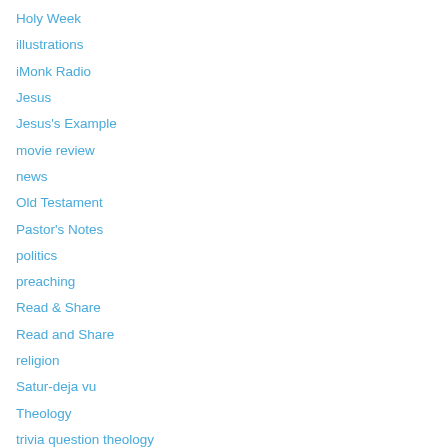Holy Week
illustrations
iMonk Radio
Jesus
Jesus's Example
movie review
news
Old Testament
Pastor's Notes
politics
preaching
Read & Share
Read and Share
religion
Satur-deja vu
Theology
trivia question theology
Uncategorized
VBS